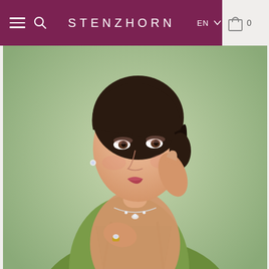Stenzhorn — EN — Cart 0
[Figure (photo): Fashion/jewelry model photo: a young woman with dark hair pulled back, wearing a green satin spaghetti-strap dress, touching her face with one hand and wearing a ring with diamonds; a necklace is visible at her chest. Background is a soft sage green. The brand is Stenzhorn jewelry.]
PICCOLE SONATE
Melodies of Nature